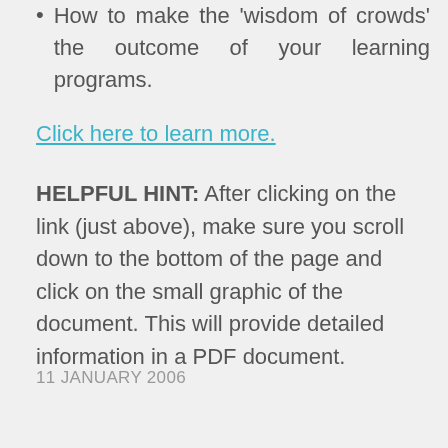How to make the 'wisdom of crowds' the outcome of your learning programs.
Click here to learn more.
HELPFUL HINT: After clicking on the link (just above), make sure you scroll down to the bottom of the page and click on the small graphic of the document. This will provide detailed information in a PDF document.
11 JANUARY 2006